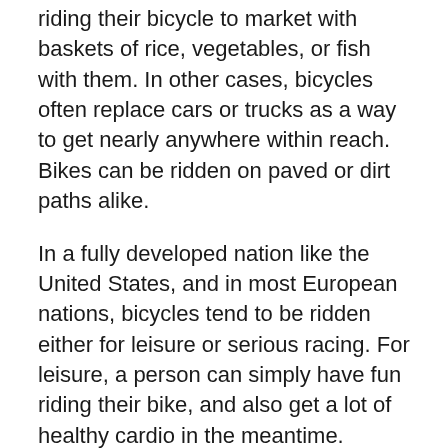riding their bicycle to market with baskets of rice, vegetables, or fish with them. In other cases, bicycles often replace cars or trucks as a way to get nearly anywhere within reach. Bikes can be ridden on paved or dirt paths alike.
In a fully developed nation like the United States, and in most European nations, bicycles tend to be ridden either for leisure or serious racing. For leisure, a person can simply have fun riding their bike, and also get a lot of healthy cardio in the meantime. Bicycles can be ridden along streets in bike lanes or across parks, and a person may travel many miles in a single day like this. Many cardio and lung illnesses may become less likely in a person who indulges in regular bicycle riding, and this exercise can also develop leg muscles. Bike